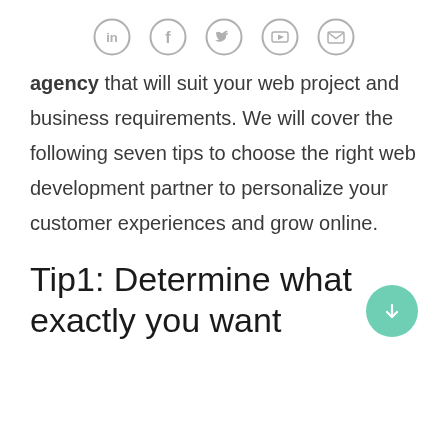[Social icons: LinkedIn, Facebook, Twitter, YouTube, Email]
agency that will suit your web project and business requirements. We will cover the following seven tips to choose the right web development partner to personalize your customer experiences and grow online.
Tip1: Determine what exactly you want